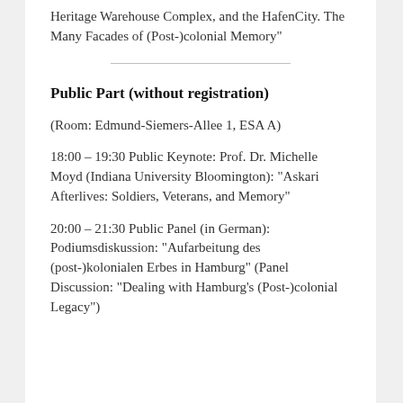Heritage Warehouse Complex, and the HafenCity. The Many Facades of (Post-)colonial Memory"
Public Part (without registration)
(Room: Edmund-Siemers-Allee 1, ESA A)
18:00 – 19:30 Public Keynote: Prof. Dr. Michelle Moyd (Indiana University Bloomington): “Askari Afterlives: Soldiers, Veterans, and Memory”
20:00 – 21:30 Public Panel (in German): Podiumsdiskussion: “Aufarbeitung des (post-)kolonialen Erbes in Hamburg” (Panel Discussion: “Dealing with Hamburg’s (Post-)colonial Legacy”)